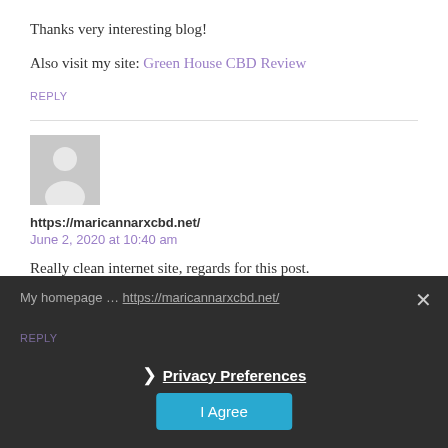Thanks very interesting blog!
Also visit my site: Green House CBD Review
REPLY
[Figure (illustration): Default grey avatar placeholder image showing silhouette of a person]
https://maricannarxcbd.net/
June 2, 2020 at 10:40 am
Really clean internet site, regards for this post.
My homepage ... https://maricannarxcbd.net/
REPLY
❯ Privacy Preferences
I Agree